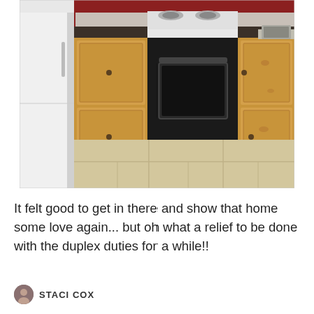[Figure (photo): Kitchen interior showing a black electric range/oven with white cooktop, light pine wood cabinets on either side, a white refrigerator on the left, a sink visible on the right, dark countertops, and beige/tan ceramic tile floor.]
It felt good to get in there and show that home some love again... but oh what a relief to be done with the duplex duties for a while!!
STACI COX